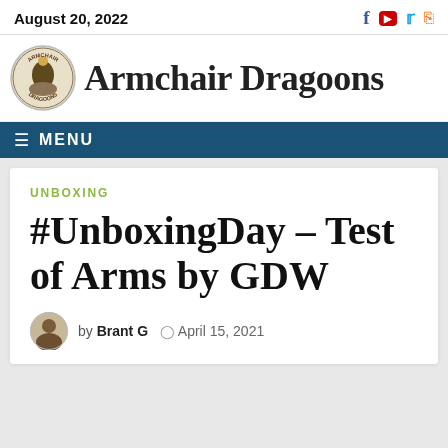August 20, 2022
[Figure (logo): Armchair Dragoons logo with circular emblem showing a soldier on horseback and site name text]
MENU
UNBOXING
#UnboxingDay – Test of Arms by GDW
by Brant G  © April 15, 2021